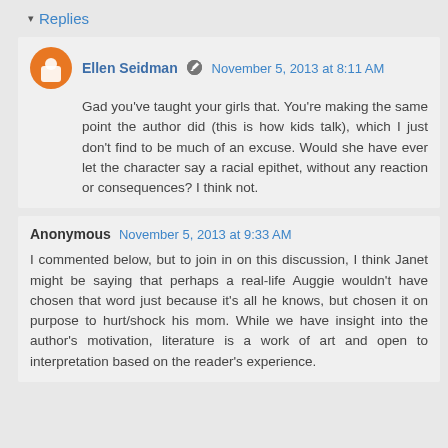Replies
Ellen Seidman  November 5, 2013 at 8:11 AM
Gad you've taught your girls that. You're making the same point the author did (this is how kids talk), which I just don't find to be much of an excuse. Would she have ever let the character say a racial epithet, without any reaction or consequences? I think not.
Anonymous  November 5, 2013 at 9:33 AM
I commented below, but to join in on this discussion, I think Janet might be saying that perhaps a real-life Auggie wouldn't have chosen that word just because it's all he knows, but chosen it on purpose to hurt/shock his mom. While we have insight into the author's motivation, literature is a work of art and open to interpretation based on the reader's experience.